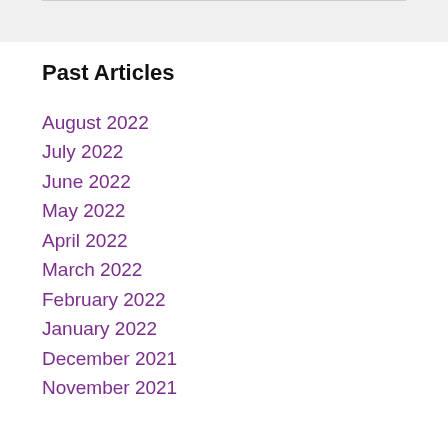Past Articles
August 2022
July 2022
June 2022
May 2022
April 2022
March 2022
February 2022
January 2022
December 2021
November 2021